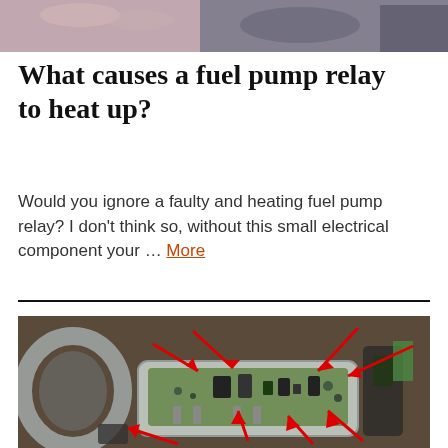[Figure (photo): Cropped top portion of a photo showing hands near a mechanical/electrical component]
What causes a fuel pump relay to heat up?
Would you ignore a faulty and heating fuel pump relay? I don't think so, without this small electrical component your … More
[Figure (photo): Photo of an open fuel pump relay circuit board with red arrows pointing to various components on the board]